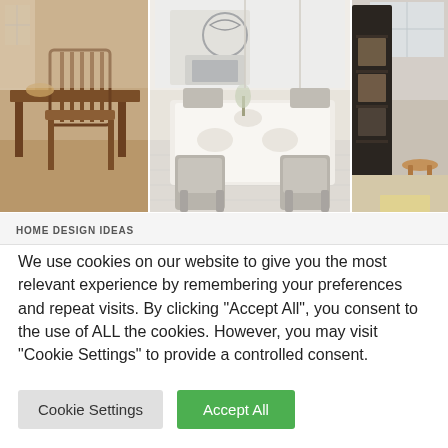[Figure (photo): Three-panel composite of interior room photos: left panel shows a warm wooden dining chair and table with warm lighting; center panel shows a bright white dining room with upholstered grey chairs around a white-clothed table and floral arrangement; right panel shows a dark metal shelving unit and a wooden stool in a light-filled room.]
HOME DESIGN IDEAS
We use cookies on our website to give you the most relevant experience by remembering your preferences and repeat visits. By clicking "Accept All", you consent to the use of ALL the cookies. However, you may visit "Cookie Settings" to provide a controlled consent.
Cookie Settings
Accept All